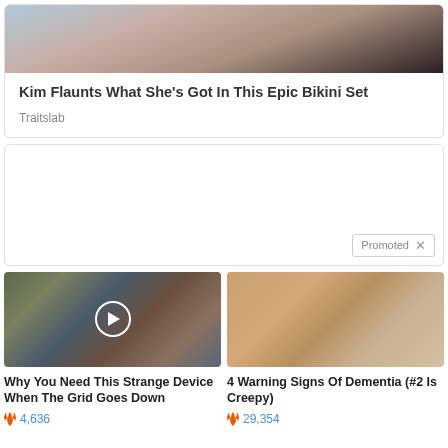[Figure (photo): Partial photo of a woman with dark hair against a blue sky background]
Kim Flaunts What She's Got In This Epic Bikini Set
Traitslab
[Figure (other): Advertisement box with Promoted label and X close button]
[Figure (photo): Street scene photo with cars and pedestrians, with a play button overlay]
[Figure (photo): Close-up photo of fingernails with yellowish tint]
Why You Need This Strange Device When The Grid Goes Down
4,636
4 Warning Signs Of Dementia (#2 Is Creepy)
29,354